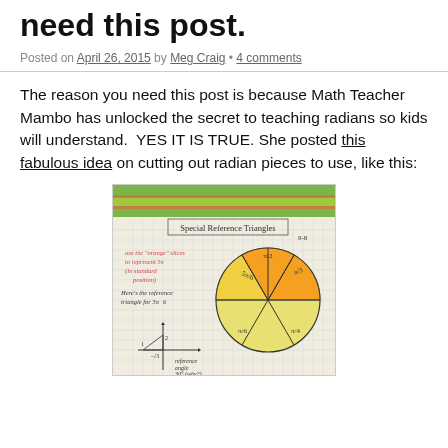need this post.
Posted on April 26, 2015 by Meg Craig • 4 comments
The reason you need this post is because Math Teacher Mambo has unlocked the secret to teaching radians so kids will understand. YES IT IS TRUE. She posted this fabulous idea on cutting out radian pieces to use, like this:
[Figure (photo): A handwritten notebook page titled 'Special Reference Triangles' showing orange pie-slice radian pieces arranged in a circle, with handwritten notes about using the orange slices to represent 5π/6 in standard position, and a reference triangle coordinate diagram showing reference angle 30° (why?). Date notation 9-8 visible in corner.]